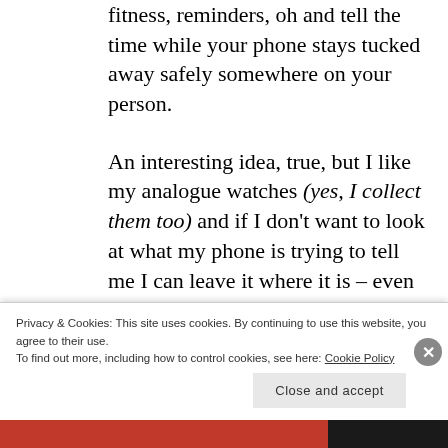fitness, reminders, oh and tell the time while your phone stays tucked away safely somewhere on your person.
An interesting idea, true, but I like my analogue watches (yes, I collect them too) and if I don't want to look at what my phone is trying to tell me I can leave it where it is – even if it is on the shelf, at home, because I forgot it.
Privacy & Cookies: This site uses cookies. By continuing to use this website, you agree to their use.
To find out more, including how to control cookies, see here: Cookie Policy